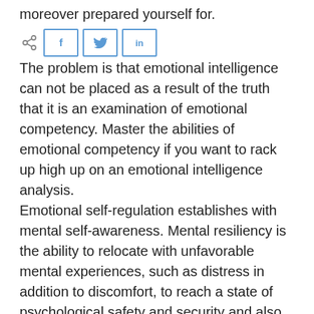moreover prepared yourself for.
[Figure (other): Social share buttons: share icon, Facebook (f), Twitter (bird), LinkedIn (in)]
The problem is that emotional intelligence can not be placed as a result of the truth that it is an examination of emotional competency. Master the abilities of emotional competency if you want to rack up high up on an emotional intelligence analysis.
Emotional self-regulation establishes with mental self-awareness. Mental resiliency is the ability to relocate with unfavorable mental experiences, such as distress in addition to discomfort, to reach a state of psychological safety and security and also protection along with security in complete satisfaction, overall gratification, together with full satisfaction. The last emotional competency is your capability to subject emotional competency to others, particularly children.